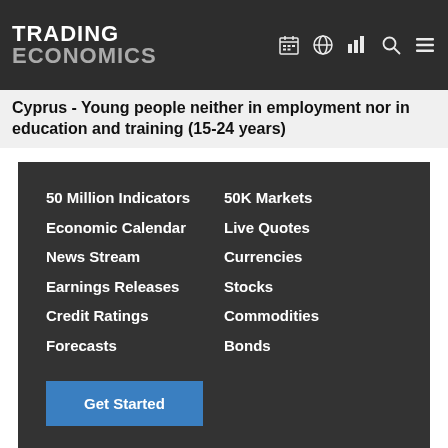TRADING ECONOMICS
Cyprus - Young people neither in employment nor in education and training (15-24 years)
50 Million Indicators | Economic Calendar | News Stream | Earnings Releases | Credit Ratings | Forecasts | 50K Markets | Live Quotes | Currencies | Stocks | Commodities | Bonds | Get Started